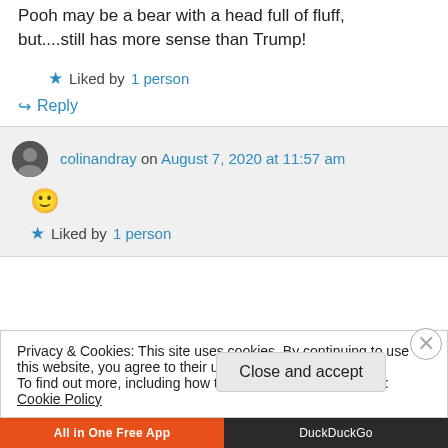Pooh may be a bear with a head full of fluff, but....still has more sense than Trump!
★ Liked by 1 person
↪ Reply
colinandray on August 7, 2020 at 11:57 am
🙂
★ Liked by 1 person
Privacy & Cookies: This site uses cookies. By continuing to use this website, you agree to their use.
To find out more, including how to control cookies, see here: Cookie Policy
Close and accept